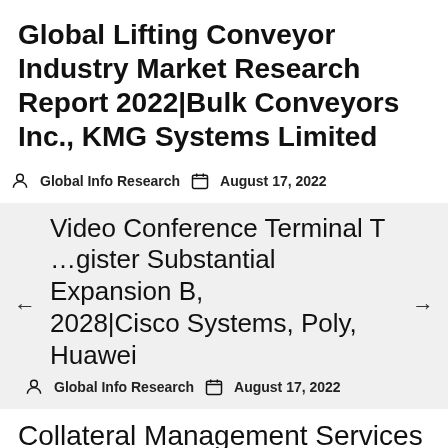Global Lifting Conveyor Industry Market Research Report 2022|Bulk Conveyors Inc., KMG Systems Limited
Global Info Research   August 17, 2022
Video Conference Terminal T...gister Substantial Expansion By 2028|Cisco Systems, Poly, Huawei
Global Info Research   August 17, 2022
Collateral Management Services Growth 2022-2028|Hong Kong...